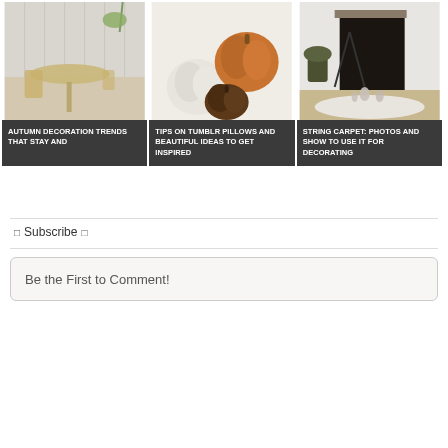[Figure (photo): Minimalist dining room with white tiled wall, round wooden table and chair]
AUTUMN DECORATION TRENDS THAT STAY AND
[Figure (photo): Fluffy pumpkin-shaped pillows in white, brown, and dark colors on a white sofa]
TIPS ON TUMBLR PILLOWS AND BEAUTIFUL IDEAS TO GET INSPIRED
[Figure (photo): Modern minimalist room with string carpet, fireplace, and plant]
STRING CARPET: PHOTOS AND SHOW TO USE IT FOR DECORATING
Subscribe
Be the First to Comment!